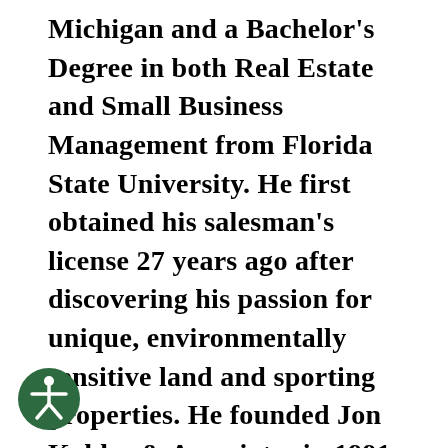Michigan and a Bachelor's Degree in both Real Estate and Small Business Management from Florida State University. He first obtained his salesman's license 27 years ago after discovering his passion for unique, environmentally sensitive land and sporting properties. He founded Jon Kohler & Associates in 1991. He went on to earn his law degree to be able to provide the highest level of representation to landowners and investors. In 2001, he was retained to represent Rock Creek Capital on a semi-exclusive basis and helped them create one of the finest portfolios of investment grade high quality land and plantations in the
[Figure (illustration): Circular accessibility icon with a person figure in white on dark green background]